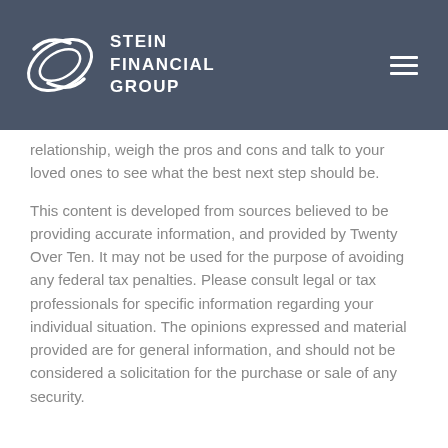Stein Financial Group
relationship, weigh the pros and cons and talk to your loved ones to see what the best next step should be.
This content is developed from sources believed to be providing accurate information, and provided by Twenty Over Ten. It may not be used for the purpose of avoiding any federal tax penalties. Please consult legal or tax professionals for specific information regarding your individual situation. The opinions expressed and material provided are for general information, and should not be considered a solicitation for the purchase or sale of any security.